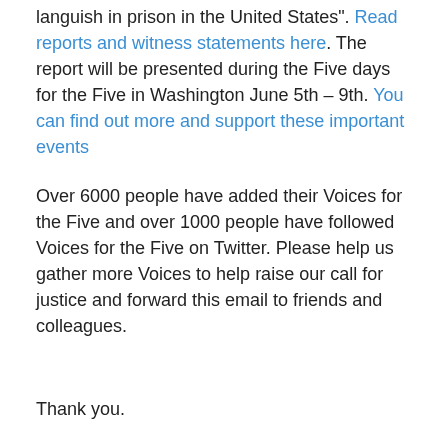languish in prison in the United States". Read reports and witness statements here. The report will be presented during the Five days for the Five in Washington June 5th – 9th. You can find out more and support these important events
Over 6000 people have added their Voices for the Five and over 1000 people have followed Voices for the Five on Twitter. Please help us gather more Voices to help raise our call for justice and forward this email to friends and colleagues.
Thank you.